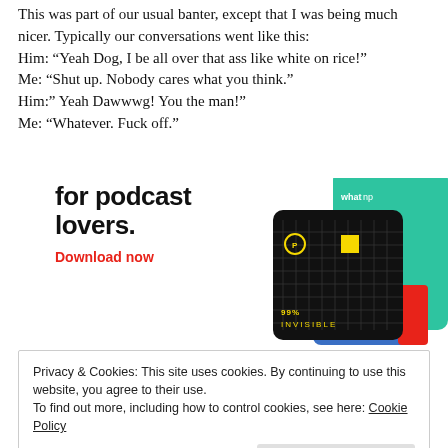This was part of our usual banter, except that I was being much nicer. Typically our conversations went like this:
Him: “Yeah Dog, I be all over that ass like white on rice!”
Me: “Shut up. Nobody cares what you think.”
Him:” Yeah Dawwwg! You the man!”
Me: “Whatever. Fuck off.”
[Figure (infographic): Advertisement banner for a podcast app featuring the text 'for podcast lovers.' in bold black, 'Download now' in red, and podcast app card images including a '99% Invisible' card on a black grid background.]
Privacy & Cookies: This site uses cookies. By continuing to use this website, you agree to their use.
To find out more, including how to control cookies, see here: Cookie Policy
Close and accept